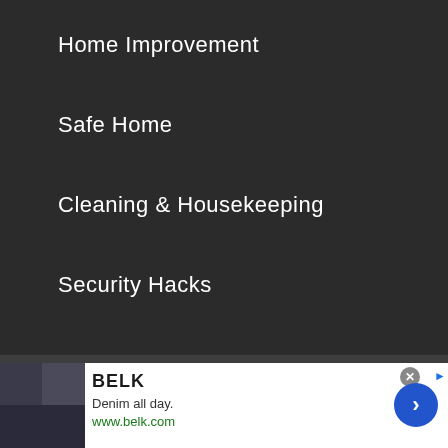Home Improvement
Safe Home
Cleaning & Housekeeping
Security Hacks
Senior Well-Being
Pest Control
Recommended Tools
[Figure (screenshot): Advertisement for BELK: 'Denim all day.' www.belk.com with a blue circular CTA arrow button and product image on left]